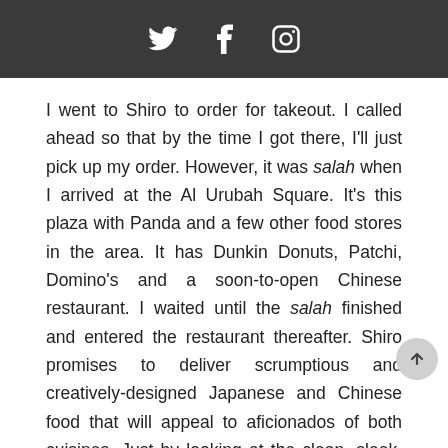social media icons: Twitter, Facebook, Instagram
I went to Shiro to order for takeout. I called ahead so that by the time I got there, I'll just pick up my order. However, it was salah when I arrived at the Al Urubah Square. It's this plaza with Panda and a few other food stores in the area. It has Dunkin Donuts, Patchi, Domino's and a soon-to-open Chinese restaurant. I waited until the salah finished and entered the restaurant thereafter. Shiro promises to deliver scrumptious and creatively-designed Japanese and Chinese food that will appeal to aficionados of both cuisines. Just by looking at the clean, sleek, and inviting interiors, I can say that it's one of those sushi bars that looks upscale but has affordable prices. It has an open-kitchen concept where diners can watch how their food are prepared. They used the traditional aesthetics of a Japanese restaurant by using wood on